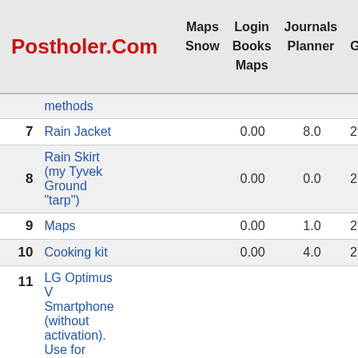Postholer.Com | Login Books | Journals Planner | Maps Snow Maps | Data Google
| # | Item | Col3 | Col4 | Col5 | Col6 |
| --- | --- | --- | --- | --- | --- |
|  | methods |  |  |  |  |
| 7 | Rain Jacket | 0.00 | 8.0 | 272.00 | 6.44lbs |
| 8 | Rain Skirt (my Tyvek Ground "tarp") | 0.00 | 0.0 | 272.00 | 6.44lbs |
| 9 | Maps | 0.00 | 1.0 | 272.00 | 6.50lbs |
| 10 | Cooking kit | 0.00 | 4.0 | 272.00 | 6.75lbs |
| 11 | LG Optimus V Smartphone (without activation). Use for GPS, Halfmile app, camera, audio-books (less battery usage than | 0.00 | 5.7 | 272.00 | 7.11lbs |